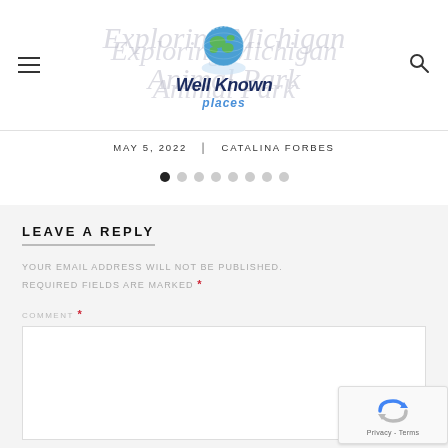Well Known places
Exploring Michigan Animal Park
MAY 5, 2022   CATALINA FORBES
[Figure (other): Pagination dots, 8 circles with first one filled/active]
LEAVE A REPLY
YOUR EMAIL ADDRESS WILL NOT BE PUBLISHED. REQUIRED FIELDS ARE MARKED *
COMMENT *
[Figure (other): reCAPTCHA badge with logo and Privacy - Terms text]